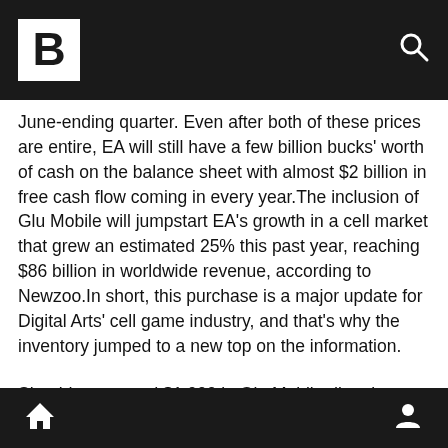B [logo] [search icon]
June-ending quarter. Even after both of these prices are entire, EA will still have a few billion bucks' worth of cash on the balance sheet with almost $2 billion in free cash flow coming in every year.The inclusion of Glu Mobile will jumpstart EA's growth in a cell market that grew an estimated 25% this past year, reaching $86 billion in worldwide revenue, according to Newzoo.In short, this purchase is a major update for Digital Arts' cell game industry, and that's why the inventory jumped to a new top on the information.
Should you spend $1,000 in Glu Mobile directly now? Before you believe Glu Mobile, then you are going to want to hear this.Investing legends and Motley Fool Co-founders David and Tom Gardner just revealed exactly what they believe are the 10 best stocks to allow investors to buy right now… and Glu Mobile
[home icon] [user icon]